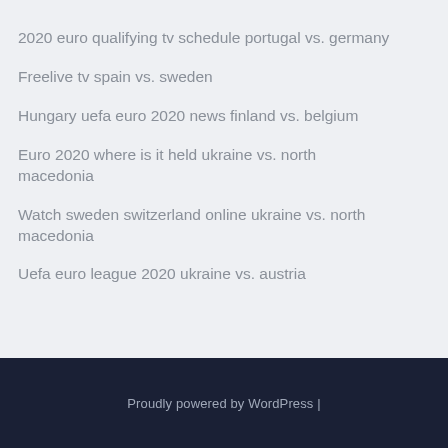2020 euro qualifying tv schedule portugal vs. germany
Freelive tv spain vs. sweden
Hungary uefa euro 2020 news finland vs. belgium
Euro 2020 where is it held ukraine vs. north macedonia
Watch sweden switzerland online ukraine vs. north macedonia
Uefa euro league 2020 ukraine vs. austria
Proudly powered by WordPress |